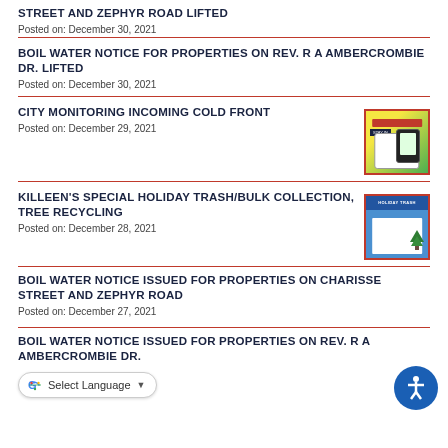STREET AND ZEPHYR ROAD LIFTED
Posted on: December 30, 2021
BOIL WATER NOTICE FOR PROPERTIES ON REV. R A AMBERCROMBIE DR. LIFTED
Posted on: December 30, 2021
CITY MONITORING INCOMING COLD FRONT
Posted on: December 29, 2021
[Figure (screenshot): Thumbnail image of city monitoring cold front notice with phone graphic on yellow-green background]
KILLEEN'S SPECIAL HOLIDAY TRASH/BULK COLLECTION, TREE RECYCLING
Posted on: December 28, 2021
[Figure (screenshot): Thumbnail image of holiday trash/bulk collection and tree recycling flyer with blue background]
BOIL WATER NOTICE ISSUED FOR PROPERTIES ON CHARISSE STREET AND ZEPHYR ROAD
Posted on: December 27, 2021
BOIL WATER NOTICE ISSUED FOR PROPERTIES ON REV. R A AMBERCROMBIE DR.